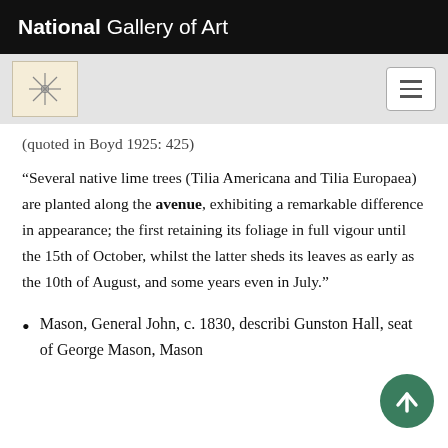National Gallery of Art
(quoted in Boyd 1925: 425)
“Several native lime trees (Tilia Americana and Tilia Europaea) are planted along the avenue, exhibiting a remarkable difference in appearance; the first retaining its foliage in full vigour until the 15th of October, whilst the latter sheds its leaves as early as the 10th of August, and some years even in July.”
Mason, General John, c. 1830, describi… Gunston Hall, seat of George Mason, Mason